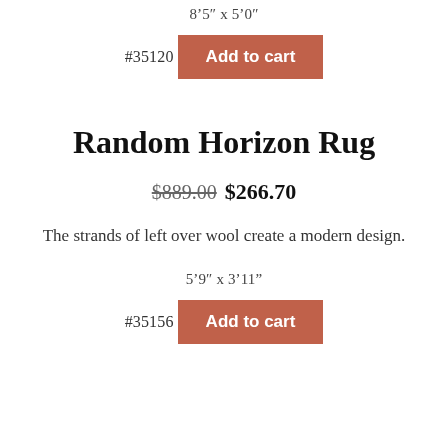8‘5” x 5‘0”
#35120  Add to cart
Random Horizon Rug
$889.00  $266.70
The strands of left over wool create a modern design.
5‘9” x 3‘11”
#35156  Add to cart